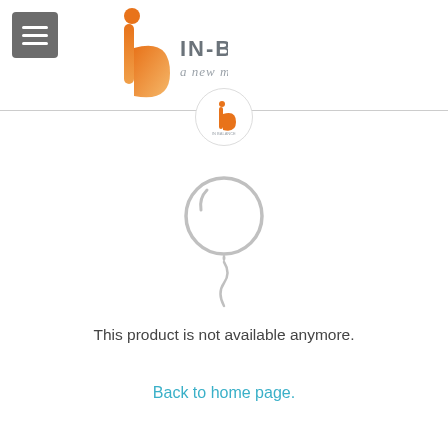[Figure (logo): In-Balance logo with orange 'ib' icon and text 'IN-BALANCE a new movement']
[Figure (illustration): Small circular In-Balance logo badge centered on divider line]
[Figure (illustration): Gray balloon icon indicating product not available]
This product is not available anymore.
Back to home page.